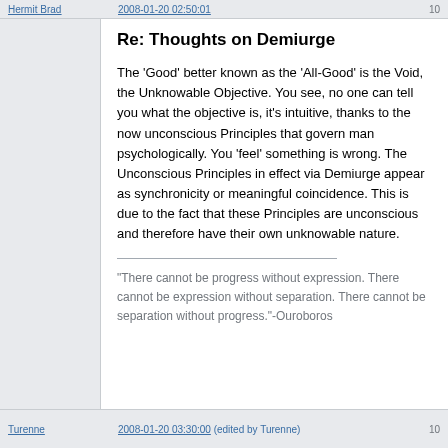Hermit Brad | 2008-01-20 02:50:01 | 10
Re: Thoughts on Demiurge
The 'Good' better known as the 'All-Good' is the Void, the Unknowable Objective. You see, no one can tell you what the objective is, it's intuitive, thanks to the now unconscious Principles that govern man psychologically. You 'feel' something is wrong. The Unconscious Principles in effect via Demiurge appear as synchronicity or meaningful coincidence. This is due to the fact that these Principles are unconscious and therefore have their own unknowable nature.
"There cannot be progress without expression. There cannot be expression without separation. There cannot be separation without progress."-Ouroboros
Turenne | 2008-01-20 03:30:00 (edited by Turenne) | 10